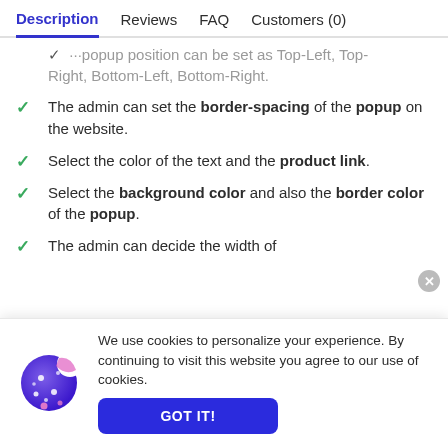Description | Reviews | FAQ | Customers (0)
Popup position can be set as Top-Left, Top-Right, Bottom-Left, Bottom-Right.
The admin can set the border-spacing of the popup on the website.
Select the color of the text and the product link.
Select the background color and also the border color of the popup.
The admin can decide the width of the…
We use cookies to personalize your experience. By continuing to visit this website you agree to our use of cookies.